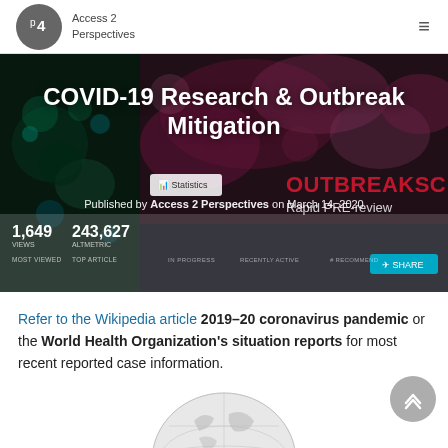Access 2 Perspectives
[Figure (screenshot): Hero banner image with microscopy/virus imagery background. Title: COVID-19 Research & Outbreak Mitigation. Published by Access 2 Perspectives on March 14, 2020. Stats: 1,649 views, 243,627 altmetric. OUTBREAKSC text visible on right side.]
COVID-19 Research & Outbreak Mitigation
Published by Access 2 Perspectives on March 14, 2020
Refer to the Wikipedia article 2019–20 coronavirus pandemic or the World Health Organization's situation reports for most recent reported case information.
[Figure (illustration): Partial globe/world image at bottom of page]